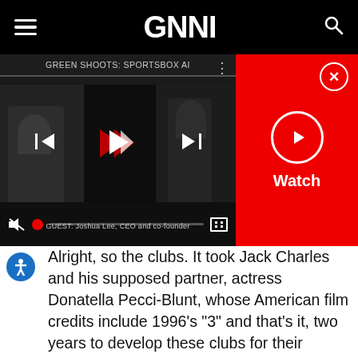GNN
[Figure (screenshot): Video player showing GREEN SHOOTS: SPORTSBOX AI with playback controls, muted audio, red progress dot, and a red Watch panel with play button and X close button. Guest bar reads: GUEST: Joshua Lee, CEO and co-founder]
Alright, so the clubs. It took Jack Charles and his supposed partner, actress Donatella Pecci-Blunt, whose American film credits include 1996's "3" and that's it, two years to develop these clubs for their lifestyle club. AND THERE ARE ONLY 10 CLUBS! There are 14 in a golf bag. So, The Royal Treatment means getting shorted four freaking clubs?!